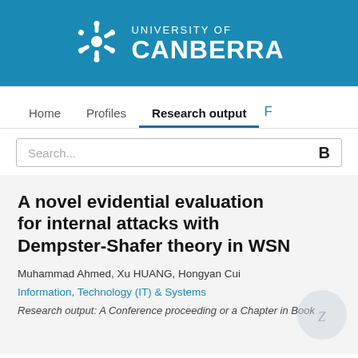[Figure (logo): University of Canberra logo — snowflake/gear icon in white on blue background, with text UNIVERSITY OF CANBERRA in white]
Home   Profiles   Research output   F
Search...
A novel evidential evaluation for internal attacks with Dempster-Shafer theory in WSN
Muhammad Ahmed, Xu HUANG, Hongyan Cui
Information, Technology (IT) & Systems
Research output: A Conference proceeding or a Chapter in Book